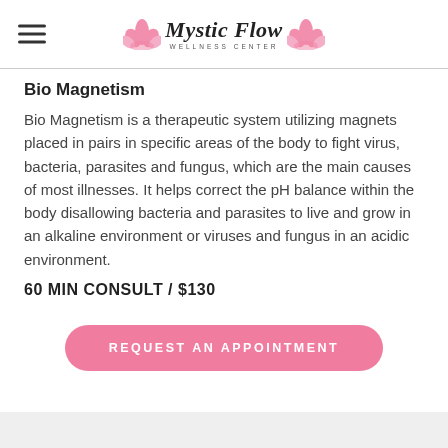Mystic Flow Wellness Center
Bio Magnetism
Bio Magnetism is a therapeutic system utilizing magnets placed in pairs in specific areas of the body to fight virus, bacteria, parasites and fungus, which are the main causes of most illnesses. It helps correct the pH balance within the body disallowing bacteria and parasites to live and grow in an alkaline environment or viruses and fungus in an acidic environment.
60 MIN CONSULT / $130
REQUEST AN APPOINTMENT